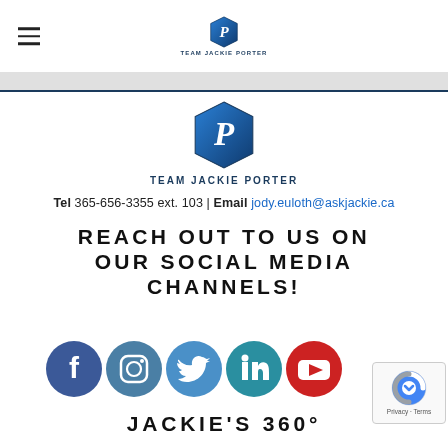Team Jackie Porter – navigation header with logo
[Figure (logo): Team Jackie Porter logo – stylized blue P shield with TEAM Jackie PORTER text, main content area]
Tel 365-656-3355 ext. 103 | Email jody.euloth@askjackie.ca
REACH OUT TO US ON OUR SOCIAL MEDIA CHANNELS!
[Figure (infographic): Row of five social media icon circles: Facebook (dark blue), Instagram (blue-gray), Twitter (medium blue), LinkedIn (teal-blue), YouTube (red)]
JACKIE'S 360°